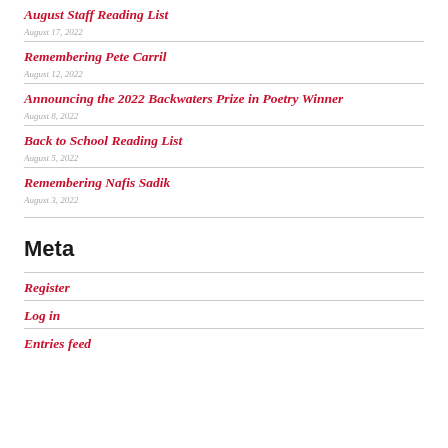August Staff Reading List
Remembering Pete Carril
Announcing the 2022 Backwaters Prize in Poetry Winner
Back to School Reading List
Remembering Nafis Sadik
Meta
Register
Log in
Entries feed